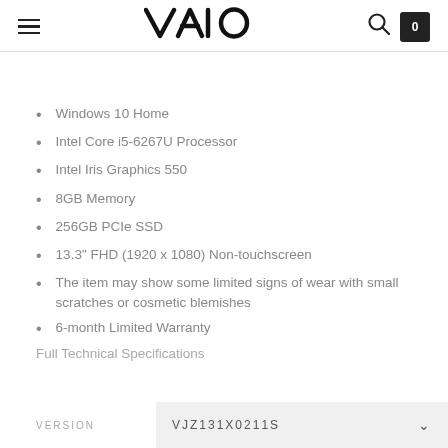VAIO
Windows 10 Home
Intel Core i5-6267U Processor
Intel Iris Graphics 550
8GB Memory
256GB PCIe SSD
13.3" FHD (1920 x 1080) Non-touchscreen
The item may show some limited signs of wear with small scratches or cosmetic blemishes
6-month Limited Warranty
Full Technical Specifications
VERSION  VJZ131X0211S